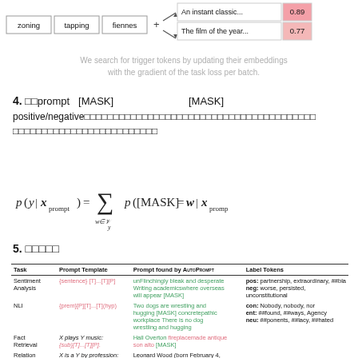[Figure (schematic): Diagram showing tokens 'zoning', 'tapping', 'fiennes' with a plus sign and arrow pointing to two result rows: 'An instant classic...' 0.89 and 'The film of the year...' 0.77]
We search for trigger tokens by updating their embeddings with the gradient of the task loss per batch.
4. [Japanese text] prompt [MASK] [MASK] positive/negative [Japanese text]
5. [Japanese text]
| Task | Prompt Template | Prompt found by AutoPrompt | Label Tokens |
| --- | --- | --- | --- |
| Sentiment Analysis | {sentence} [T]...[T][P] | unFlinchingly bleak and desperate Writing academicswhere overseas will appear [MASK] | pos: partnership, extraordinary, ##bla
neg: worse, persisted, unconstitutional |
| NLI | {prem}[P][T]...[T](hyp) | Two dogs are wrestling and hugging [MASK] concretepathic workplace There is no dog wrestling and hugging | con: Nobody, nobody, nor
ent: ##found, ##ways, Agency
neu: ##ponents, ##lacy, ##hated |
| Fact Retrieval | X plays Y music: {sub}[T]...[T][P]. | Hall Overton fireplacemade antique son alto [MASK] |  |
| Relation Extraction | X is a Y by profession: {sent}{sub}[T]...[T][P]. | Leonard Wood (born February 4, 1942) is a former Canadian |  |